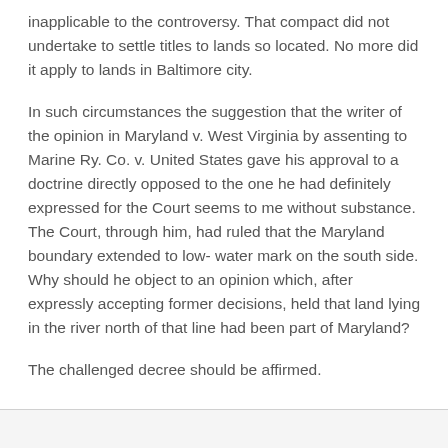inapplicable to the controversy. That compact did not undertake to settle titles to lands so located. No more did it apply to lands in Baltimore city.
In such circumstances the suggestion that the writer of the opinion in Maryland v. West Virginia by assenting to Marine Ry. Co. v. United States gave his approval to a doctrine directly opposed to the one he had definitely expressed for the Court seems to me without substance. The Court, through him, had ruled that the Maryland boundary extended to low- water mark on the south side. Why should he object to an opinion which, after expressly accepting former decisions, held that land lying in the river north of that line had been part of Maryland?
The challenged decree should be affirmed.